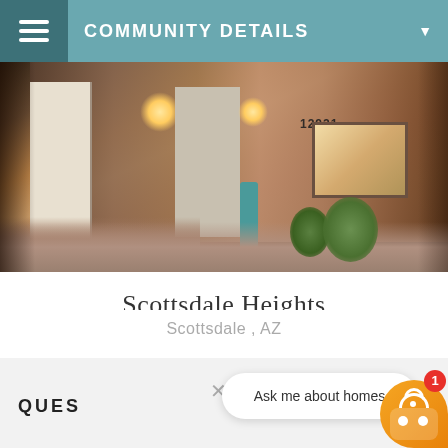COMMUNITY DETAILS
[Figure (photo): Exterior photo of a home with brick facade, teal sculpture, desert landscaping, and illuminated entryway at dusk]
Scottsdale Heights
Scottsdale , AZ
QUES
Ask me about homes